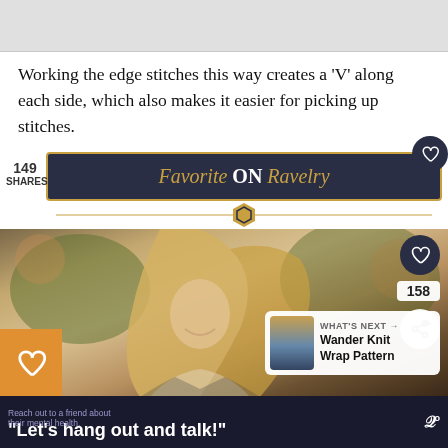[Figure (photo): Light gray placeholder image area at the top of the page]
Working the edge stitches this way creates a 'V' along each side, which also makes it easier for picking up stitches.
[Figure (infographic): Dark navy banner reading 'Favorite ON Ravelry' with gold italic text and gold hexagon divider, alongside share count '149 SHARES' on the left and a white heart button on the right]
[Figure (photo): Photo of a blonde woman laughing, looking down, with warm outdoor background. Overlaid UI elements: heart button (158), share button, orange heart button on left, 'WHAT'S NEXT → Wander Knit Wrap Pattern' card on bottom right]
[Figure (infographic): Dark advertisement banner reading 'Reach out to a friend about their mental health.' with large quote text: "Let's hang out and talk!" and a logo mark on the right]